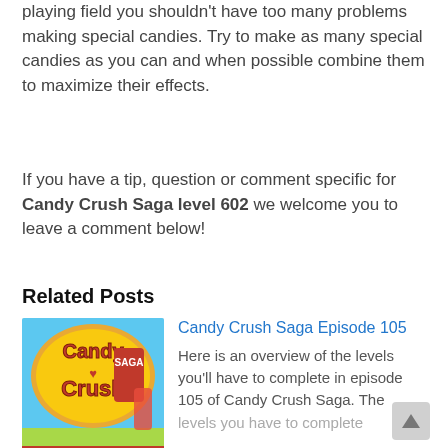playing field you shouldn't have too many problems making special candies. Try to make as many special candies as you can and when possible combine them to maximize their effects.
If you have a tip, question or comment specific for Candy Crush Saga level 602 we welcome you to leave a comment below!
Related Posts
[Figure (illustration): Candy Crush Saga episode 105 thumbnail showing the Candy Crush Saga logo with text '1551-1565' in red at the bottom]
Candy Crush Saga Episode 105
Here is an overview of the levels you'll have to complete in episode 105 of Candy Crush Saga. The levels you have to complete